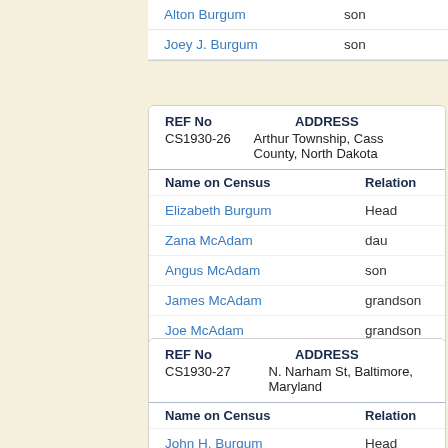| Name on Census | Relation |
| --- | --- |
| Alton Burgum | son |
| Joey J. Burgum | son |
| REF No | ADDRESS | Name on Census | Relation |
| --- | --- | --- | --- |
| CS1930-26 | Arthur Township, Cass County, North Dakota |  |  |
| Elizabeth Burgum | Head |  |  |
| Zana McAdam | dau |  |  |
| Angus McAdam | son |  |  |
| James McAdam | grandson |  |  |
| Joe McAdam | grandson |  |  |
| Margaret McAdam | granddaughter |  |  |
| REF No | ADDRESS | Name on Census | Relation |
| --- | --- | --- | --- |
| CS1930-27 | N. Narham St, Baltimore, Maryland |  |  |
| John H. Burgum | Head |  |  |
| Marie Burgum | wife |  |  |